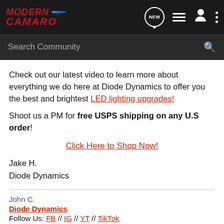Modern Camaro — Search Community
Check out our latest video to learn more about everything we do here at Diode Dynamics to offer you the best and brightest LED lighting upgrades!
Shoot us a PM for free USPS shipping on any U.S order!
Click Here to Shop Now!
Jake H.
Diode Dynamics
John C.
Diode Dynamics
Follow Us: FB // IG // YT // TikTok